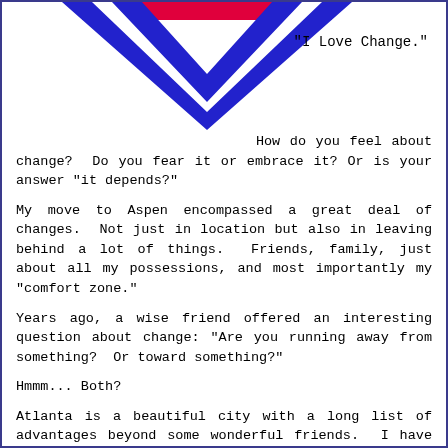[Figure (logo): Blue and red downward-pointing chevron/arrow logo]
"I Love Change."
How do you feel about change?  Do you fear it or embrace it? Or is your answer "it depends?"
My move to Aspen encompassed a great deal of changes.  Not just in location but also in leaving behind a lot of things.  Friends, family, just about all my possessions, and most importantly my "comfort zone."
Years ago, a wise friend offered an interesting question about change: "Are you running away from something?  Or toward something?"
Hmmm... Both?
Atlanta is a beautiful city with a long list of advantages beyond some wonderful friends.  I have nothing bad to say about it, even with its challenges (like traffic).  But it was never a good place for me.  Did I learn a lot through the challenges I faced?  Of course?  Do I think, on some level, I "signed up" for those challenges?  Yep.  (You see, I believe that "destiny" includes events that we co-create in order for